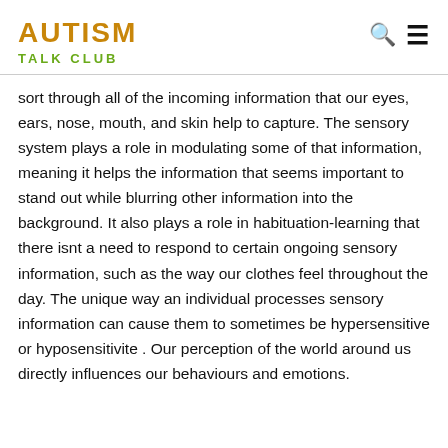AUTISM TALK CLUB
sort through all of the incoming information that our eyes, ears, nose, mouth, and skin help to capture. The sensory system plays a role in modulating some of that information, meaning it helps the information that seems important to stand out while blurring other information into the background. It also plays a role in habituation-learning that there isnt a need to respond to certain ongoing sensory information, such as the way our clothes feel throughout the day. The unique way an individual processes sensory information can cause them to sometimes be hypersensitive or hyposensitivite . Our perception of the world around us directly influences our behaviours and emotions.